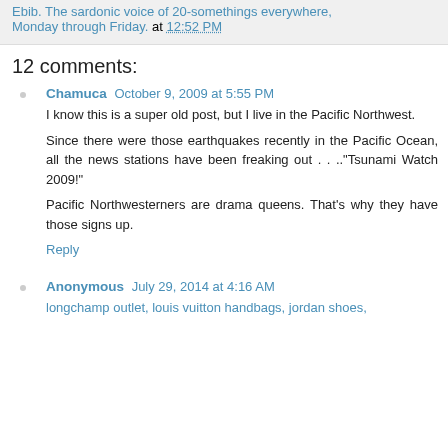Ebib. The sardonic voice of 20-somethings everywhere, Monday through Friday. at 12:52 PM
12 comments:
Chamuca October 9, 2009 at 5:55 PM
I know this is a super old post, but I live in the Pacific Northwest.
Since there were those earthquakes recently in the Pacific Ocean, all the news stations have been freaking out . . ."Tsunami Watch 2009!"
Pacific Northwesterners are drama queens. That's why they have those signs up.
Reply
Anonymous July 29, 2014 at 4:16 AM
longchamp outlet, louis vuitton handbags, jordan shoes,